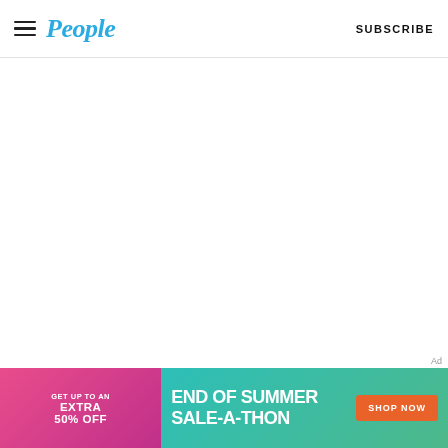People — SUBSCRIBE
[Figure (other): Advertisement label 'Ad' in light gray text]
[Figure (infographic): End of Summer Sale-A-Thon banner ad. Left pink section: GET UP TO AN EXTRA 50% OFF. Right teal/green section: END OF SUMMER SALE-A-THON with orange SHOP NOW button.]